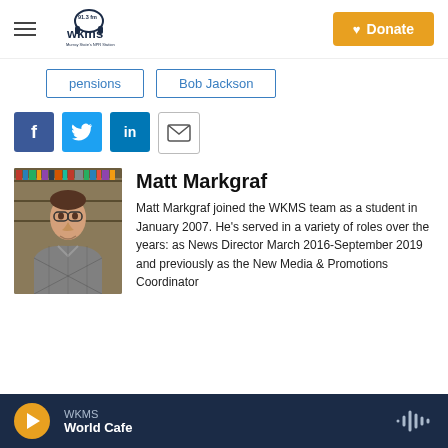WKMS 91.3 fm — Murray State's NPR Station | Donate
pensions
Bob Jackson
[Figure (other): Social sharing icons: Facebook, Twitter, LinkedIn, Email]
[Figure (photo): Headshot photo of Matt Markgraf, a man in a grey argyle sweater in front of bookshelves]
Matt Markgraf
Matt Markgraf joined the WKMS team as a student in January 2007. He's served in a variety of roles over the years: as News Director March 2016-September 2019 and previously as the New Media & Promotions Coordinator
WKMS World Cafe